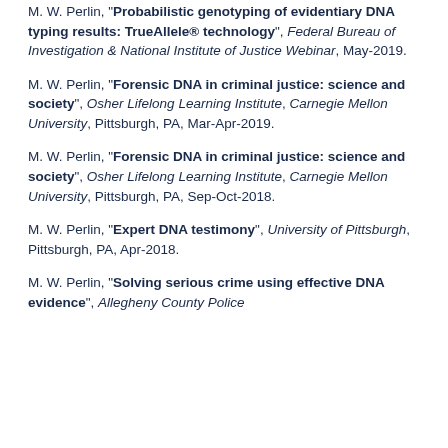M. W. Perlin, "Probabilistic genotyping of evidentiary DNA typing results: TrueAllele® technology", Federal Bureau of Investigation & National Institute of Justice Webinar, May-2019.
M. W. Perlin, "Forensic DNA in criminal justice: science and society", Osher Lifelong Learning Institute, Carnegie Mellon University, Pittsburgh, PA, Mar-Apr-2019.
M. W. Perlin, "Forensic DNA in criminal justice: science and society", Osher Lifelong Learning Institute, Carnegie Mellon University, Pittsburgh, PA, Sep-Oct-2018.
M. W. Perlin, "Expert DNA testimony", University of Pittsburgh, Pittsburgh, PA, Apr-2018.
M. W. Perlin, "Solving serious crime using effective DNA evidence", Allegheny County Police...